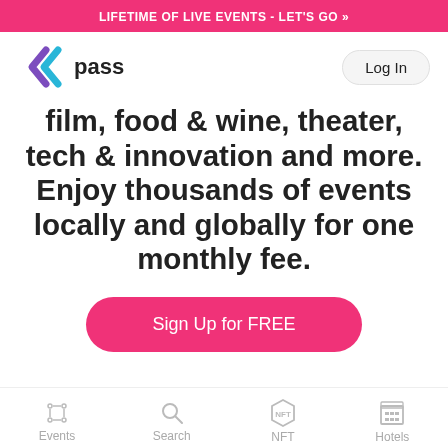LIFETIME OF LIVE EVENTS - LET'S GO »
[Figure (logo): Pass app logo: stylized double chevron left arrow in purple and blue gradient, with the word 'pass' next to it in bold black text]
film, food & wine, theater, tech & innovation and more. Enjoy thousands of events locally and globally for one monthly fee.
Sign Up for FREE
[Figure (infographic): Bottom navigation bar with four icons: Events (sparkle icon), Search (magnifying glass icon), NFT (hexagon with NFT text), Hotels (building icon)]